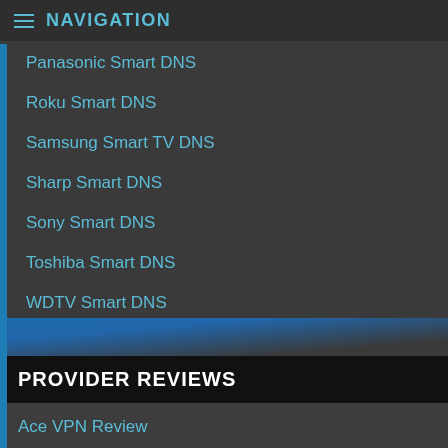NAVIGATION
Panasonic Smart DNS
Roku Smart DNS
Samsung Smart TV DNS
Sharp Smart DNS
Sony Smart DNS
Toshiba Smart DNS
WDTV Smart DNS
Smart DNS Setup for Router
PROVIDER REVIEWS
Ace VPN Review
Blockless Review
CactusVPN Review
ExpressVPN Review